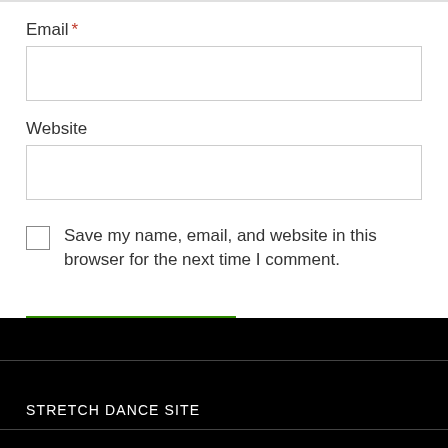Email *
Website
Save my name, email, and website in this browser for the next time I comment.
POST COMMENT
STRETCH DANCE SITE